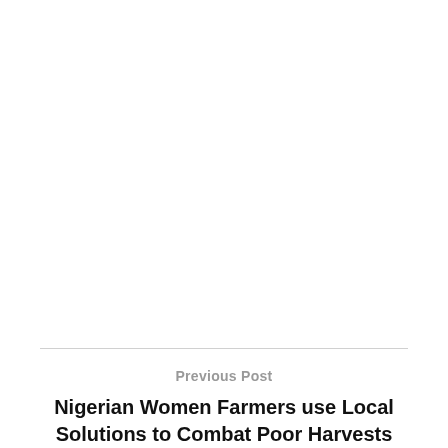Previous Post
Nigerian Women Farmers use Local Solutions to Combat Poor Harvests